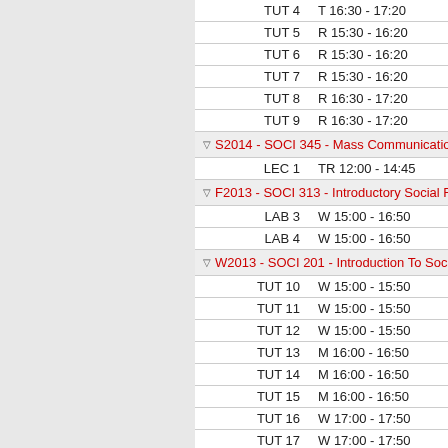TUT 4   T 16:30 - 17:20
TUT 5   R 15:30 - 16:20
TUT 6   R 15:30 - 16:20
TUT 7   R 15:30 - 16:20
TUT 8   R 16:30 - 17:20
TUT 9   R 16:30 - 17:20
S2014 - SOCI 345 - Mass Communication
LEC 1   TR 12:00 - 14:45
F2013 - SOCI 313 - Introductory Social R
LAB 3   W 15:00 - 16:50
LAB 4   W 15:00 - 16:50
W2013 - SOCI 201 - Introduction To Soci
TUT 10  W 15:00 - 15:50
TUT 11  W 15:00 - 15:50
TUT 12  W 15:00 - 15:50
TUT 13  M 16:00 - 16:50
TUT 14  M 16:00 - 16:50
TUT 15  M 16:00 - 16:50
TUT 16  W 17:00 - 17:50
TUT 17  W 17:00 - 17:50
TUT 18  R 15:30 - 16:20